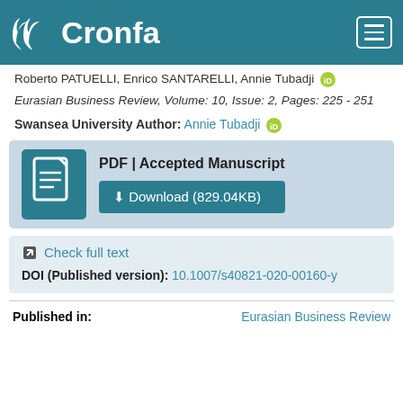Cronfa
Roberto PATUELLI, Enrico SANTARELLI, Annie Tubadji
Eurasian Business Review, Volume: 10, Issue: 2, Pages: 225 - 251
Swansea University Author: Annie Tubadji
[Figure (other): PDF document icon with download button labeled 'PDF | Accepted Manuscript' and 'Download (829.04KB)']
Check full text
DOI (Published version): 10.1007/s40821-020-00160-y
Published in: Eurasian Business Review